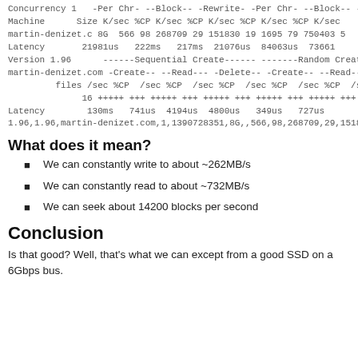Concurrency 1   -Per Chr- --Block-- -Rewrite- -Per Chr- --Block-- --See
Machine      Size K/sec %CP K/sec %CP K/sec %CP K/sec %CP K/sec
martin-denizet.c 8G  566 98 268709 29 151830 19 1695 79 750403 5
Latency       21981us   222ms   217ms  21076us  84063us  73661
Version 1.96      ------Sequential Create------ -------Random Create-----
martin-denizet.com -Create-- --Read--- -Delete-- -Create-- --Read--- -D
         files /sec %CP  /sec %CP  /sec %CP  /sec %CP  /sec %CP  /sec
              16 +++++ +++ +++++ +++ +++++ +++ +++++ +++ +++++ +++ ++++
Latency        130ms   741us  4194us  4800us   349us   727us
1.96,1.96,martin-denizet.com,1,1390728351,8G,,566,98,268709,29,1518
What does it mean?
We can constantly write to about ~262MB/s
We can constantly read to about ~732MB/s
We can seek about 14200 blocks per second
Conclusion
Is that good? Well, that's what we can except from a good SSD on a 6Gbps bus.